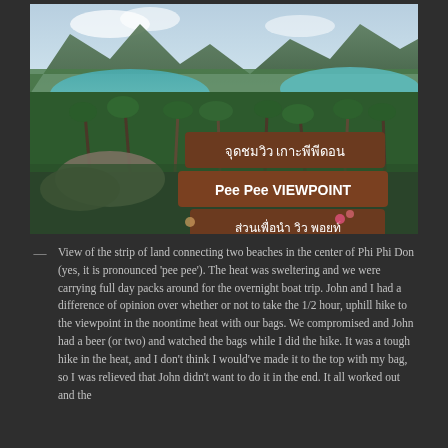[Figure (photo): Aerial/elevated view of Phi Phi Don island showing a strip of land connecting two beaches with turquoise water on both sides, palm trees and jungle in the foreground, mountains in the background. Three brown wooden signs are visible in the foreground: a Thai language sign at top, 'Pee Pee VIEWPOINT' in the middle (white text on brown board), and another Thai language sign at the bottom.]
— View of the strip of land connecting two beaches in the center of Phi Phi Don (yes, it is pronounced 'pee pee'). The heat was sweltering and we were carrying full day packs around for the overnight boat trip. John and I had a difference of opinion over whether or not to take the 1/2 hour, uphill hike to the viewpoint in the noontime heat with our bags. We compromised and John had a beer (or two) and watched the bags while I did the hike. It was a tough hike in the heat, and I don't think I would've made it to the top with my bag, so I was relieved that John didn't want to do it in the end. It all worked out and the